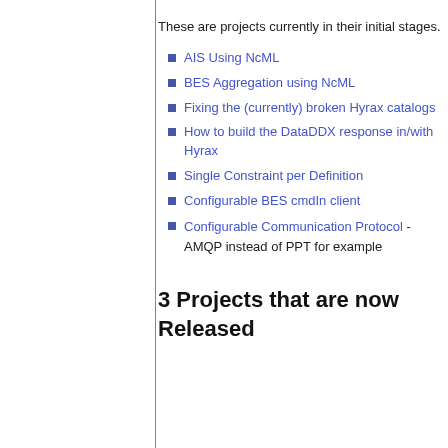These are projects currently in their initial stages.
AIS Using NcML
BES Aggregation using NcML
Fixing the (currently) broken Hyrax catalogs
How to build the DataDDX response in/with Hyrax
Single Constraint per Definition
Configurable BES cmdIn client
Configurable Communication Protocol - AMQP instead of PPT for example
3 Projects that are now Released